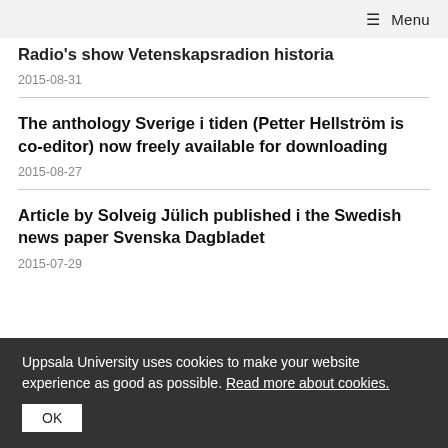≡ Menu
Radio's show Vetenskapsradion historia
2015-08-31
The anthology Sverige i tiden (Petter Hellström is co-editor) now freely available for downloading
2015-08-27
Article by Solveig Jülich published i the Swedish news paper Svenska Dagbladet
2015-07-29
Uppsala University uses cookies to make your website experience as good as possible. Read more about cookies.
OK